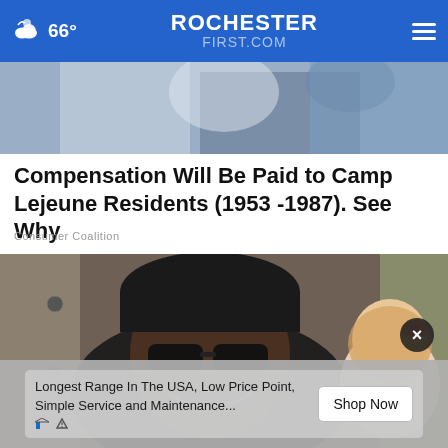66° ROCHESTERFIRST.COM
[Figure (photo): Partial cropped photo showing clothing/torso area, visible at top of page]
Compensation Will Be Paid to Camp Lejeune Residents (1953 -1987). See Why
Consumer Coalition
[Figure (photo): Man wearing sunglasses and dark cap smiling at camera, with a young girl with a pink bow visible in the background]
Longest Range In The USA, Low Price Point, Simple Service and Maintenance...  Shop Now